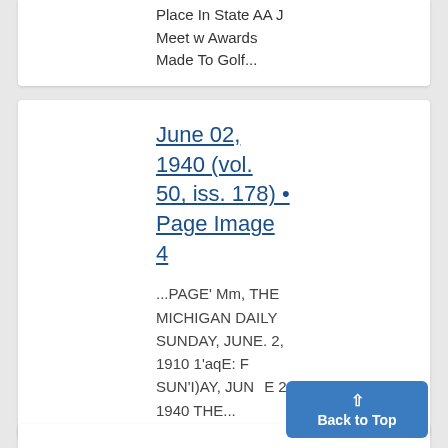Place In State AA J Meet w Awards Made To Golf...
June 02, 1940 (vol. 50, iss. 178) • Page Image 4
...PAGE' Mm, THE MICHIGAN DAILY SUNDAY, JUNE. 2, 1910 1'aqE: F SUN'I)AY, JUNE 2, 1940 THE...